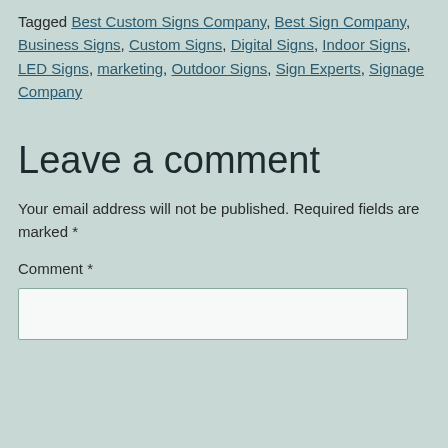Tagged Best Custom Signs Company, Best Sign Company, Business Signs, Custom Signs, Digital Signs, Indoor Signs, LED Signs, marketing, Outdoor Signs, Sign Experts, Signage Company
Leave a comment
Your email address will not be published. Required fields are marked *
Comment *